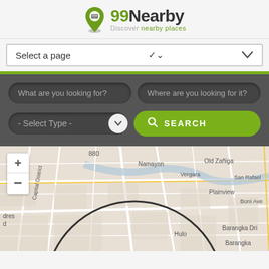[Figure (logo): 99Nearby logo with location pin icon and tagline 'Discover nearby places']
Select a page
[Figure (screenshot): Web application interface showing search panel with inputs 'What are you looking for?', 'Where are you looking for it?', '- Select Type -' dropdown, and green SEARCH button, overlaid on a street map showing Manila area with labels: 880, Namayan, Old Zañiga, San Rafael, Plainview, Boni Ave, Vergara, Capital District, Hulo, Barangka Dri, Barangka, with zoom +/- controls]